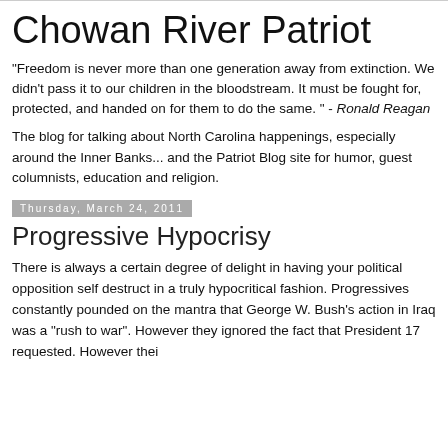Chowan River Patriot
"Freedom is never more than one generation away from extinction. We didn't pass it to our children in the bloodstream. It must be fought for, protected, and handed on for them to do the same. " - Ronald Reagan
The blog for talking about North Carolina happenings, especially around the Inner Banks... and the Patriot Blog site for humor, guest columnists, education and religion.
Thursday, March 24, 2011
Progressive Hypocrisy
There is always a certain degree of delight in having your political opposition self destruct in a truly hypocritical fashion. Progressives constantly pounded on the mantra that George W. Bush's action in Iraq was a "rush to war". However they ignored the fact that President 17 requested. However thei